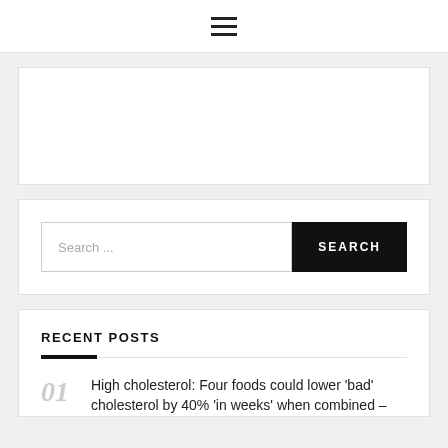≡
[Figure (other): White advertisement/banner placeholder block]
Search ...
RECENT POSTS
High cholesterol: Four foods could lower 'bad' cholesterol by 40% 'in weeks' when combined –